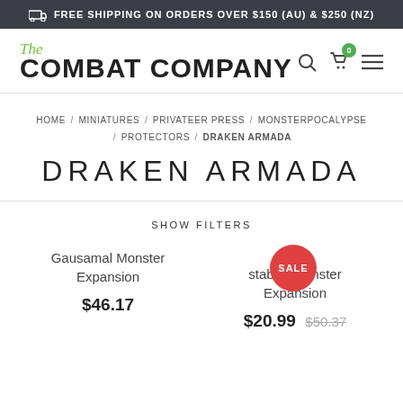FREE SHIPPING ON ORDERS OVER $150 (AU) & $250 (NZ)
[Figure (logo): The Combat Company logo - 'The' in green italic script above 'COMBAT COMPANY' in bold black uppercase]
HOME / MINIATURES / PRIVATEER PRESS / MONSTERPOCALYPSE / PROTECTORS / DRAKEN ARMADA
DRAKEN ARMADA
SHOW FILTERS
Gausamal Monster Expansion
$46.17
SALE
staban Monster Expansion
$20.99  $50.37